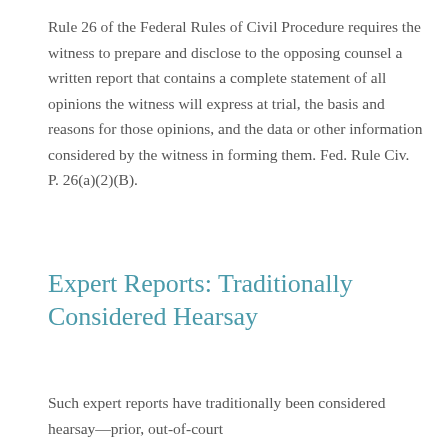Rule 26 of the Federal Rules of Civil Procedure requires the witness to prepare and disclose to the opposing counsel a written report that contains a complete statement of all opinions the witness will express at trial, the basis and reasons for those opinions, and the data or other information considered by the witness in forming them. Fed. Rule Civ. P. 26(a)(2)(B).
Expert Reports: Traditionally Considered Hearsay
Such expert reports have traditionally been considered hearsay—prior, out-of-court